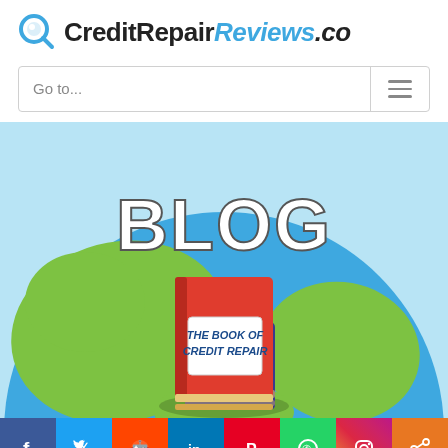CreditRepairReviews.co
Go to...
[Figure (illustration): Blog hero image: a large globe with blue ocean and green continents, a red book titled 'THE BOOK OF CREDIT REPAIR' in the center, and large white bold text 'BLOG' above on a light blue background.]
[Figure (infographic): Social media sharing bar with buttons for Facebook (dark blue), Twitter (light blue), Reddit (orange), LinkedIn (blue), Pinterest (red), WhatsApp (green), Instagram (gradient purple/pink/orange), and Share (orange).]